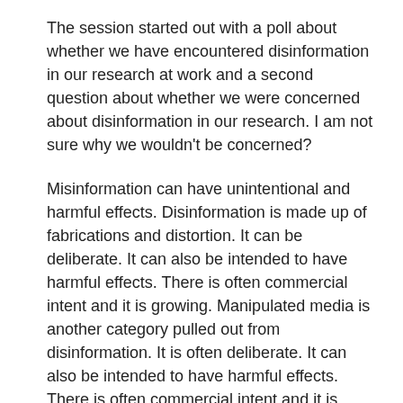The session started out with a poll about whether we have encountered disinformation in our research at work and a second question about whether we were concerned about disinformation in our research. I am not sure why we wouldn't be concerned?
Misinformation can have unintentional and harmful effects. Disinformation is made up of fabrications and distortion. It can be deliberate. It can also be intended to have harmful effects. There is often commercial intent and it is growing. Manipulated media is another category pulled out from disinformation. It is often deliberate. It can also be intended to have harmful effects. There is often commercial intent and it is growing.
Manipulated media and disinformation have an intersection which represents new approaches and grown threats. New players are employing strategic, systematic, intelligent tech-